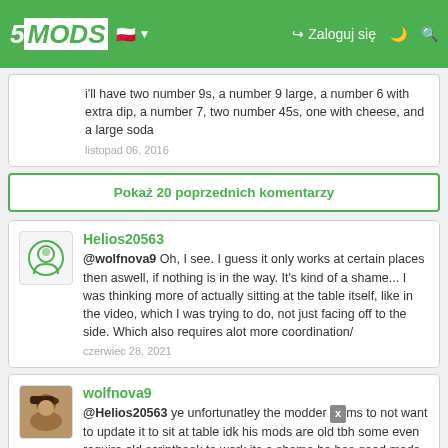5MODS | Zaloguj się
i'll have two number 9s, a number 9 large, a number 6 with extra dip, a number 7, two number 45s, one with cheese, and a large soda
listopad 06, 2016
Pokaż 20 poprzednich komentarzy
Helios20563
@wolfnova9 Oh, I see. I guess it only works at certain places then aswell, if nothing is in the way. It's kind of a shame... I was thinking more of actually sitting at the table itself, like in the video, which I was trying to do, not just facing off to the side. Which also requires alot more coordination/
czerwiec 28, 2021
wolfnova9
@Helios20563 ye unfortunatley the modder seems to not want to update it to sit at table idk his mods are old tbh some even require old scripthook to work its a shame he has good mods